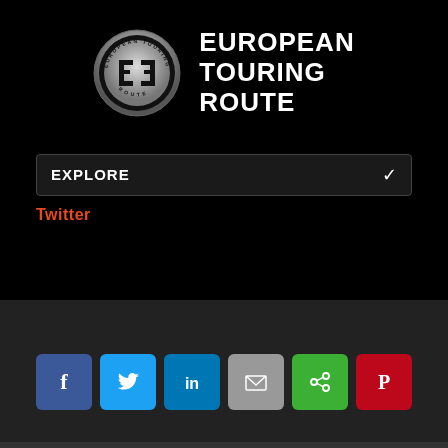[Figure (logo): European Touring Route logo: circular metallic badge with ETR initials and text 'EUROPEAN TOURING ROUTE' in bold white capitals]
EXPLORE
Twitter
[Figure (infographic): Six social media share buttons: Facebook (blue, f), Twitter (light blue, bird), LinkedIn (dark blue, in), Email (grey, envelope), Share (green, share icon), Pinterest (red, P)]